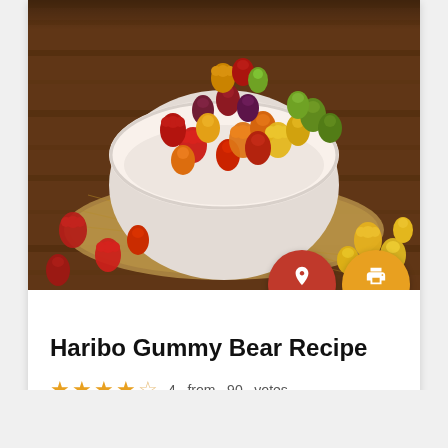[Figure (photo): A white bowl filled with colorful Haribo gummy bears (red, orange, yellow, green) overflowing onto a wooden surface with burlap, surrounded by scattered gummy bears]
Haribo Gummy Bear Recipe
4 from 90 votes
Recipe by Laura Ritterman